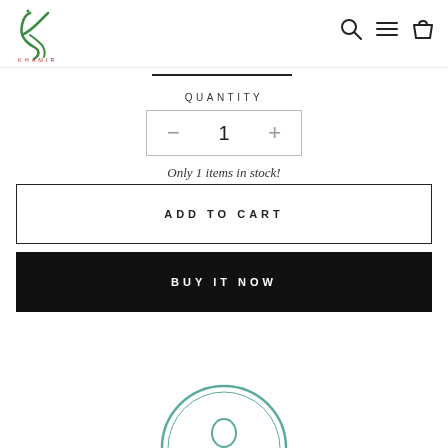[Figure (logo): Khamir brand logo — green script letterform with 'KHAMIR' text below in small caps]
[Figure (infographic): Navigation icons: search (magnifying glass), menu (hamburger/lines), and shopping bag]
QUANTITY
− 1 +
Only 1 items in stock!
ADD TO CART
BUY IT NOW
[Figure (logo): Partial circular Khamir watermark logo at bottom, teal/green color]